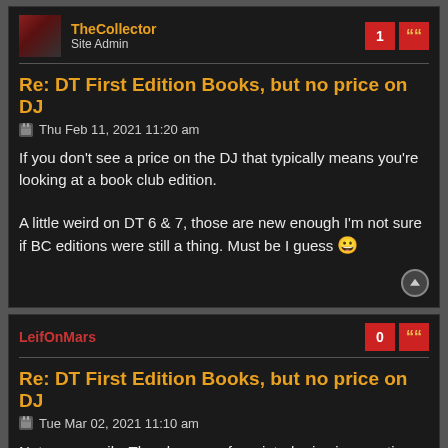TheCollector
Site Admin
Re: DT First Edition Books, but no price on DJ
Thu Feb 11, 2021 11:20 am
If you don't see a price on the DJ that typically means you're looking at a book club edition.

A little weird on DT 6 & 7, those are new enough I'm not sure if BC editions were still a thing. Must be I guess 😀
LeifOnMars
Re: DT First Edition Books, but no price on DJ
Tue Mar 02, 2021 11:10 am
Not necessarily. The absence of a printed price is sometimes the characteristic of a proof dust-jacket.
TheCollector
Site Admin